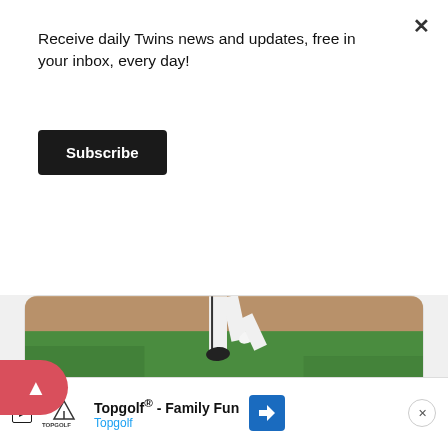Receive daily Twins news and updates, free in your inbox, every day!
Subscribe
[Figure (photo): Baseball pitcher mid-windup on a grass field, lower body visible in white uniform, baseball visible on the mound dirt.]
2:18 PM · Aug 19, 2020
196  Reply  Copy link
Read 1 reply
Topgolf® - Family Fun  Topgolf